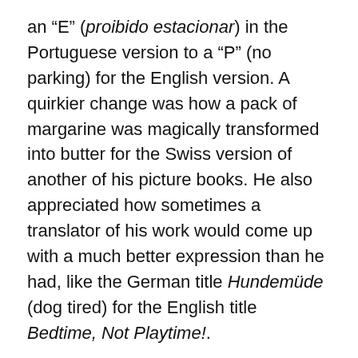an “E” (proibido estacionar) in the Portuguese version to a “P” (no parking) for the English version. A quirkier change was how a pack of margarine was magically transformed into butter for the Swiss version of another of his picture books. He also appreciated how sometimes a translator of his work would come up with a much better expression than he had, like the German title Hundemüde (dog tired) for the English title Bedtime, Not Playtime!.
The conversation continued into how translations are often published in and processed through dominant languages and how decisions in translation can sometimes be influenced by the political relationships between or among the languages. In tune with embracing minority representations, Lawrence also asserted to keep words from a foreign language in regular style instead of